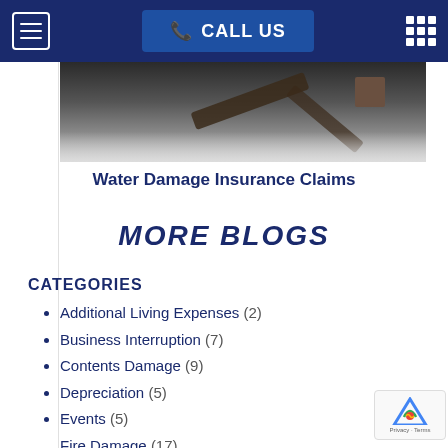CALL US
[Figure (photo): Ceiling fan photo partially visible at top of page]
Water Damage Insurance Claims
MORE BLOGS
CATEGORIES
Additional Living Expenses (2)
Business Interruption (7)
Contents Damage (9)
Depreciation (5)
Events (5)
Fire Damage (17)